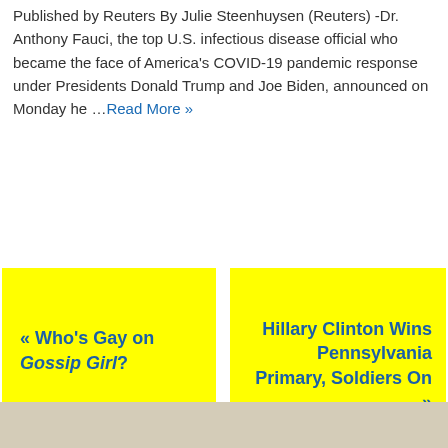Published by Reuters By Julie Steenhuysen (Reuters) -Dr. Anthony Fauci, the top U.S. infectious disease official who became the face of America's COVID-19 pandemic response under Presidents Donald Trump and Joe Biden, announced on Monday he …Read More »
« Who's Gay on Gossip Girl?
Hillary Clinton Wins Pennsylvania Primary, Soldiers On »